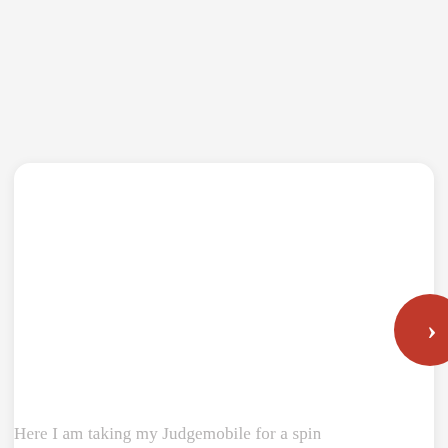[Figure (other): A white rounded rectangle card UI element on a light gray background, with a red circular navigation button (chevron/arrow pointing right) partially visible on the right edge of the card.]
Here I am taking my Judgemobile for a spin